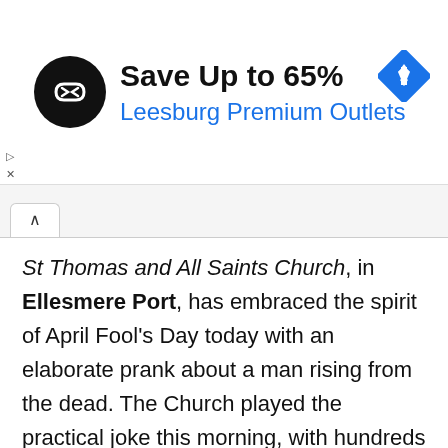[Figure (infographic): Advertisement banner: circular black logo with arrows icon, text 'Save Up to 65%' in bold black, 'Leesburg Premium Outlets' in blue, blue diamond navigation icon on right]
St Thomas and All Saints Church, in Ellesmere Port, has embraced the spirit of April Fool's Day today with an elaborate prank about a man rising from the dead. The Church played the practical joke this morning, with hundreds of people falling for it and turning up at the Church on Whitby Road to see if it was real.
It was not.
Dozens of people arrived at the church this